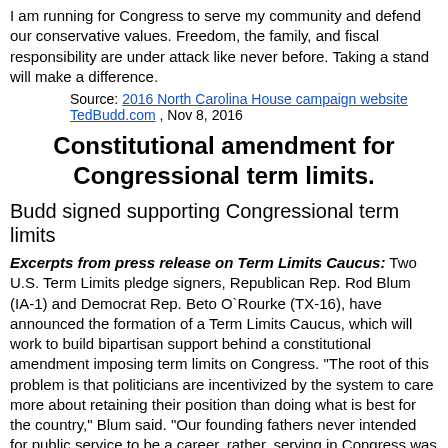I am running for Congress to serve my community and defend our conservative values. Freedom, the family, and fiscal responsibility are under attack like never before. Taking a stand will make a difference.
Source: 2016 North Carolina House campaign website TedBudd.com , Nov 8, 2016
Constitutional amendment for Congressional term limits.
Budd signed supporting Congressional term limits
Excerpts from press release on Term Limits Caucus: Two U.S. Term Limits pledge signers, Republican Rep. Rod Blum (IA-1) and Democrat Rep. Beto O`Rourke (TX-16), have announced the formation of a Term Limits Caucus, which will work to build bipartisan support behind a constitutional amendment imposing term limits on Congress. "The root of this problem is that politicians are incentivized by the system to care more about retaining their position than doing what is best for the country," Blum said. "Our founding fathers never intended for public service to be a career, rather, serving in Congress was designed to be a temporary sacrifice made for the public good."
The new working group will marshal pro-term limits members together to pursue common ground. One of its most important duties will be building consensus around the U.S. Term Limits Amendment of three House terms and two Senate terms, to which both Blum and O`Rourke have pledged their exclusive support.
Supporting argument: (Cato Institute): We should limit members to three terms in the House and two terms in the Senate. Let more people serve. Let more people make the laws. And let's get some people who don't want to make Congress a lifelong career. Some say that term limits would deprive us of the skills of experienced lawmakers. Really? It's the experienced legislators who gave us a $17 trillion national debt, and the endless war in Iraq, and the Wall Street bailout